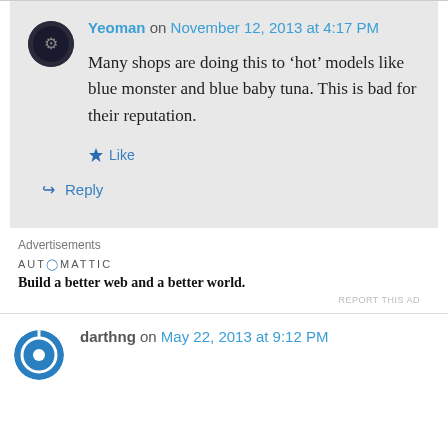Yeoman on November 12, 2013 at 4:17 PM
Many shops are doing this to ‘hot’ models like blue monster and blue baby tuna. This is bad for their reputation.
Like
Reply
Advertisements
AUT◎MATTIC
Build a better web and a better world.
REPORT THIS AD
darthng on May 22, 2013 at 9:12 PM